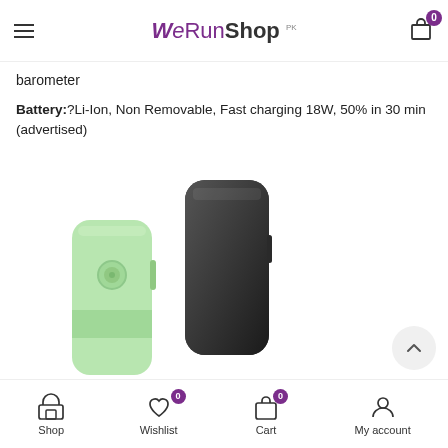WeRunShop
barometer
Battery:?Li-Ion, Non Removable, Fast charging 18W, 50% in 30 min (advertised)
[Figure (photo): Product photo showing two smartwatch/fitness tracker bands side by side — one in green and one in dark gray/black color]
Shop | Wishlist 0 | Cart 0 | My account